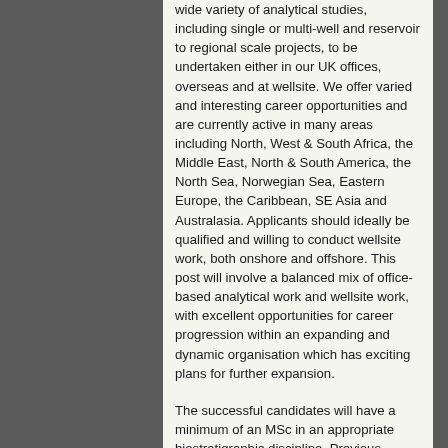wide variety of analytical studies, including single or multi-well and reservoir to regional scale projects, to be undertaken either in our UK offices, overseas and at wellsite. We offer varied and interesting career opportunities and are currently active in many areas including North, West & South Africa, the Middle East, North & South America, the North Sea, Norwegian Sea, Eastern Europe, the Caribbean, SE Asia and Australasia. Applicants should ideally be qualified and willing to conduct wellsite work, both onshore and offshore. This post will involve a balanced mix of office-based analytical work and wellsite work, with excellent opportunities for career progression within an expanding and dynamic organisation which has exciting plans for further expansion.
The successful candidates will have a minimum of an MSc in an appropriate biostratigraphic discipline. Previous industrial experience, including wellsite work is preferred, but not essential as appropriate training will be given.
We offer a highly competitive benefits package, including pension and bonuses for wellsite work. Salary will be commensurate with qualifications and